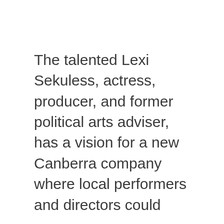The talented Lexi Sekuless, actress, producer, and former political arts adviser, has a vision for a new Canberra company where local performers and directors could develop their craft while at the li...